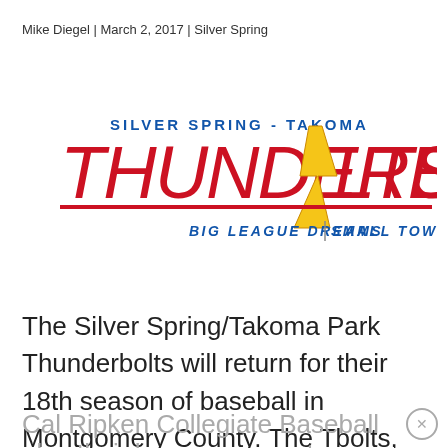Mike Diegel | March 2, 2017 | Silver Spring
[Figure (logo): Silver Spring - Takoma Thunderbolts baseball team logo. Text reads 'SILVER SPRING - TAKOMA' above large stylized 'THUNDERBOLTS' in red italic font with a yellow lightning bolt replacing the letter O. Tagline: 'BIG LEAGUE DREAMS | SMALL TOWN CHARM' in blue italic text.]
The Silver Spring/Takoma Park Thunderbolts will return for their 18th season of baseball in Montgomery County. The Tbolts, who compete in the Cal Ripken Collegiate Baseball League, play their home games at Montgomery